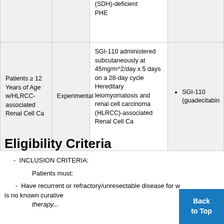| Condition | Type | Intervention | Drug |
| --- | --- | --- | --- |
|  |  | (SDH)-deficient PHE |  |
| Patients ≥ 12 Years of Age w/HLRCC-associated Renal Cell Ca | Experimental | SGI-110 administered subcutaneously at 45mg/m^2/day x 5 days on a 28-day cycle Hereditary leiomyomatosis and renal cell carcinoma (HLRCC)-associated Renal Cell Ca | SGI-110 (guadecitabin... |
Eligibility Criteria
INCLUSION CRITERIA:
Patients must:
Have recurrent or refractory/unresectable disease for which there is no known curative
therapy...